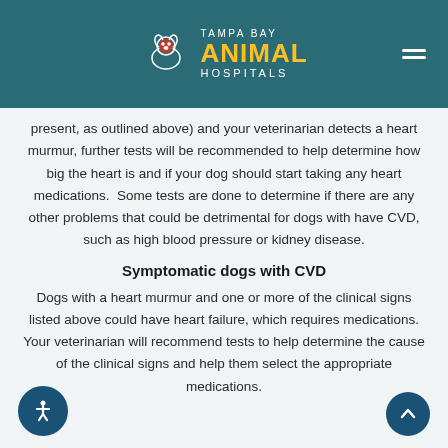Tampa Bay Animal Hospitals
present, as outlined above) and your veterinarian detects a heart murmur, further tests will be recommended to help determine how big the heart is and if your dog should start taking any heart medications. Some tests are done to determine if there are any other problems that could be detrimental for dogs with have CVD, such as high blood pressure or kidney disease.
Symptomatic dogs with CVD
Dogs with a heart murmur and one or more of the clinical signs listed above could have heart failure, which requires medications. Your veterinarian will recommend tests to help determine the cause of the clinical signs and help them select the appropriate medications.